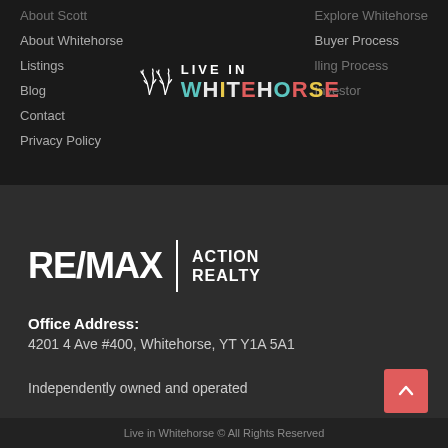About Scott
Explore Whitehorse
About Whitehorse
Buyer Process
Listings
Listing Process
Blog
Investor
Contact
Privacy Policy
[Figure (logo): Live in Whitehorse logo with antler icons and colorful WHITEHORSE text]
[Figure (logo): RE/MAX Action Realty logo]
Office Address:
4201 4 Ave #400, Whitehorse, YT Y1A 5A1
Independently owned and operated
Live in Whitehorse © All Rights Reserved